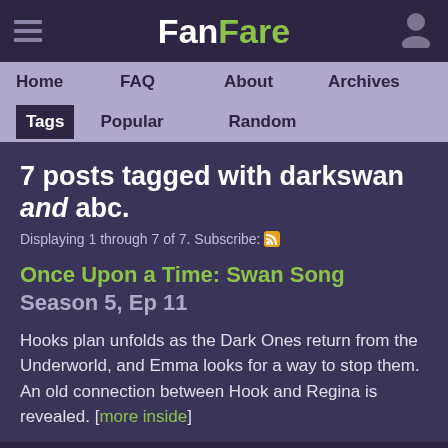FanFare
Home  FAQ  About  Archives  Tags  Popular  Random
7 posts tagged with darkswan and abc.
Displaying 1 through 7 of 7. Subscribe:
Once Upon a Time: Swan Song  Season 5, Ep 11
Hooks plan unfolds as the Dark Ones return from the Underworld, and Emma looks for a way to stop them. An old connection between Hook and Regina is revealed. [more inside]
posted by Bulgaroktonos on Dec 7, 2015 - 16 comments